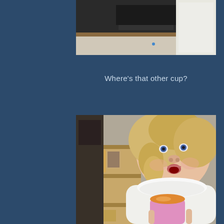[Figure (photo): Partial photo of a toddler in a white dress near a dark surface, viewed from above/side — top portion of a two-photo sequence]
Where's that other cup?
[Figure (photo): A young toddler with curly blonde hair wearing a white dress, holding a pink cup with an orange lid, with a wooden toy shelf/furniture in the background]